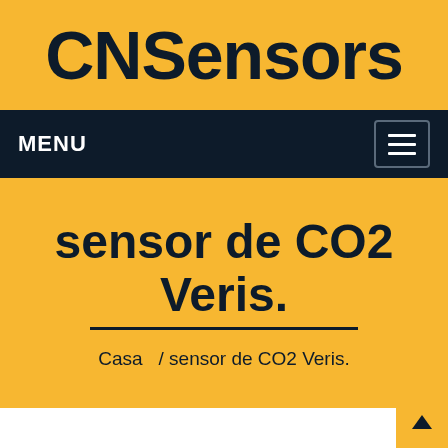CNSensors
MENU
sensor de CO2 Veris.
Casa  / sensor de CO2 Veris.